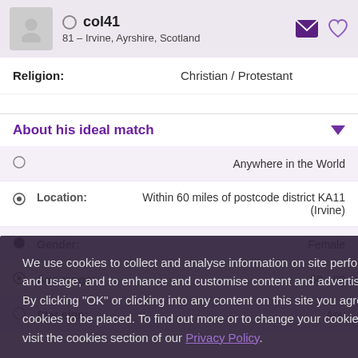col41 — 81 – Irvine, Ayrshire, Scotland
Religion: Christian / Protestant
About his ideal match
Anywhere in the World
Location: Within 60 miles of postcode district KA11 (Irvine)
Gender: Female
Age range: 60 - 80
Star sign: Any
We use cookies to collect and analyse information on site performance and usage, and to enhance and customise content and advertisements. By clicking "OK" or clicking into any content on this site you agree to allow cookies to be placed. To find out more or to change your cookie settings, visit the cookies section of our Privacy Policy.